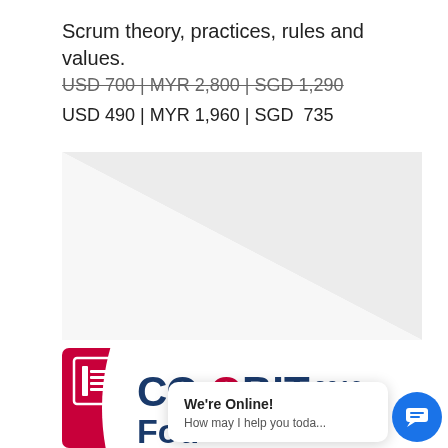Scrum theory, practices, rules and values.
USD 700 | MYR 2,800 | SGD 1,290
USD 490 | MYR 1,960 | SGD  735
[Figure (illustration): Light grey triangle/chevron graphic on white background]
[Figure (logo): COBIT 2019 Foundation course book cover with crimson background, white circle, document icon, COBIT 2019 logo in navy blue and red, and 'Foundation' text. Overlaid with a chat popup saying 'We're Online! How may I help you toda...' and a blue chat button.]